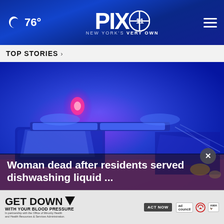🌙 76° | PIX11 NEW YORK'S VERY OWN
TOP STORIES ›
[Figure (photo): Police car with blue and pink flashing lights illuminating a vehicle at night scene]
Woman dead after residents served dishwashing liquid ...
[Figure (infographic): Advertisement banner: GET DOWN with your blood pressure. In partnership with the Office of Minority Health and Health Resources & Services Administration. ACT NOW. Logos: ad council, American Heart Association, AMA.]